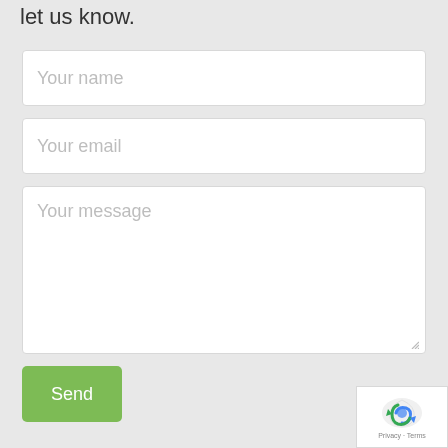let us know.
[Figure (screenshot): Web contact form with fields: Your name, Your email, Your message textarea, a green Send button, and a reCAPTCHA badge in the bottom right corner.]
Privacy · Terms